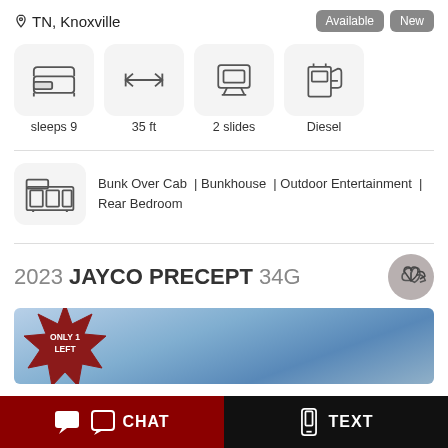TN, Knoxville
Available  New
[Figure (infographic): Four spec icons: bed (sleeps 9), arrows (35 ft), sofa (2 slides), fuel pump (Diesel)]
sleeps 9
35 ft
2 slides
Diesel
[Figure (infographic): RV floor plan icon with features: Bunk Over Cab | Bunkhouse | Outdoor Entertainment | Rear Bedroom]
Bunk Over Cab | Bunkhouse | Outdoor Entertainment | Rear Bedroom
2023 JAYCO PRECEPT 34G
[Figure (photo): Photo of an RV (motorhome) with blue sky background, with a starburst badge saying ONLY 1 LEFT]
CHAT
TEXT